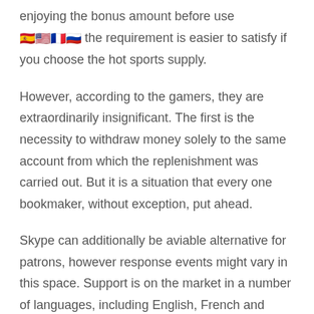enjoying the bonus amount before use [flags] the requirement is easier to satisfy if you choose the hot sports supply.
However, according to the gamers, they are extraordinarily insignificant. The first is the necessity to withdraw money solely to the same account from which the replenishment was carried out. But it is a situation that every one bookmaker, without exception, put ahead.
Skype can additionally be aviable alternative for patrons, however response events might vary in this space. Support is on the market in a number of languages, including English, French and Portuguese. After that, well experience SMS with...